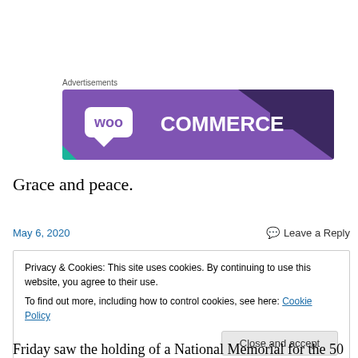Advertisements
[Figure (logo): WooCommerce advertisement banner with purple background and WooCommerce logo in white text]
Grace and peace.
May 6, 2020   Leave a Reply
Privacy & Cookies: This site uses cookies. By continuing to use this website, you agree to their use.
To find out more, including how to control cookies, see here: Cookie Policy
Close and accept
Friday saw the holding of a National Memorial for the 50